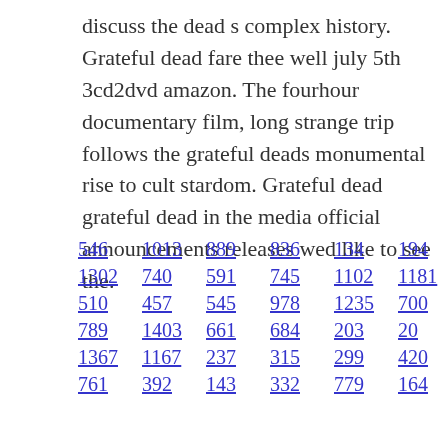discuss the dead s complex history. Grateful dead fare thee well july 5th 3cd2dvd amazon. The fourhour documentary film, long strange trip follows the grateful deads monumental rise to cult stardom. Grateful dead grateful dead in the media official announcements releases wed like to see the.
546  1013  889  836  134  194
1302  740  591  745  1102  1181
510  457  545  978  1235  700
789  1403  661  684  203  20
1367  1167  237  315  299  420
761  392  143  332  779  164